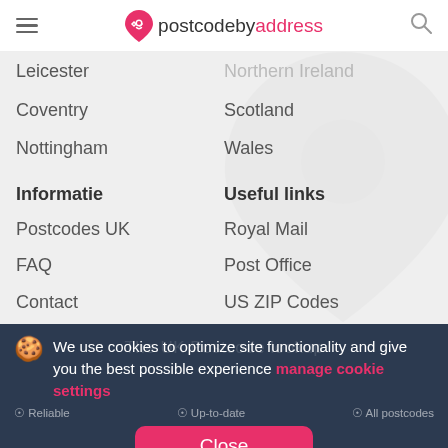postcodebyaddress
Leicester
Coventry
Nottingham
Northern Ireland (partial)
Scotland
Wales
Informatie
Useful links
Postcodes UK
FAQ
Contact
Royal Mail
Post Office
US ZIP Codes
Featured: Ledstone
We use cookies to optimize site functionality and give you the best possible experience manage cookie settings
Reliable · Up-to-date · All postcodes
©2022 Postcodebyaddress  disclaimer · cookies